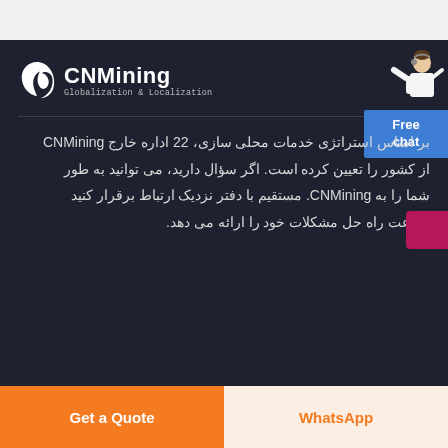[Figure (logo): CNMining logo with spiral icon and tagline 'Globalization & Localization']
[Figure (illustration): Customer service representative figure with Free chat button widget]
بر اساس استراتژی خدمات محلی سازی، 22 اداره خارج CNMining از کشور را تعیین کرده است. اگر سؤال دارید، می توانید به طور شما را به CNMining. مستقیم با دفتر نزدیک ارتباط برقرار کنید سرعت راه حل مشکلات خود را ارائه می دهد.
Get a Quote
WhatsApp